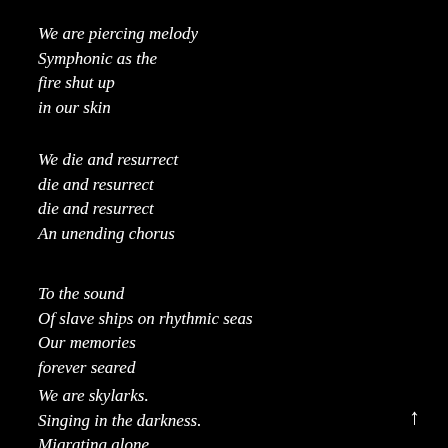We are piercing melody
Symphonic as the
fire shut up
in our skin
We die and resurrect
die and resurrect
die and resurrect
An unending chorus
To the sound
Of slave ships on rhythmic seas
Our memories
forever seared
We are skylarks.
Singing in the darkness.
Migrating alone